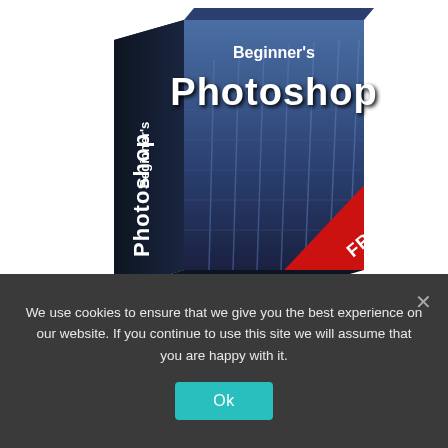[Figure (illustration): 3D software box with dark blue theme showing 'Beginner's Photoshop' text on the front and spine, with a skyscraper building image and a red 'FREE' corner banner]
Download our Free Beginner's
We use cookies to ensure that we give you the best experience on our website. If you continue to use this site we will assume that you are happy with it.